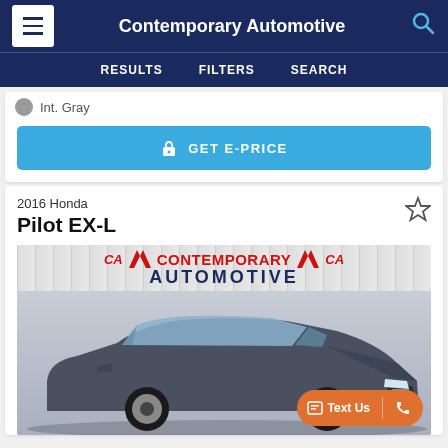Contemporary Automotive
RESULTS   FILTERS   SEARCH
Int. Gray
GET E-PRICE
2016 Honda
Pilot EX-L
[Figure (photo): Contemporary Automotive dealership sign on brick wall with Honda Pilot EX-L 2016 parked in front]
Text Us